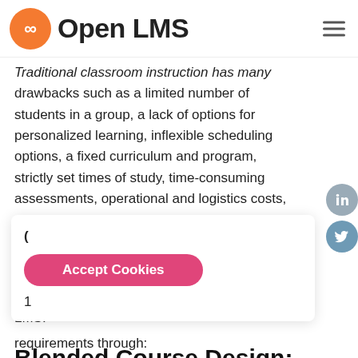Open LMS
Traditional classroom instruction has many drawbacks such as a limited number of students in a group, a lack of options for personalized learning, inflexible scheduling options, a fixed curriculum and program, strictly set times of study, time-consuming assessments, operational and logistics costs, etc.
Here is our step-by-step guide on how to best structure your blended online training using VEDAMO's Virtual Classroom in the Moodle™ LMS:
Blended Course Design: A Pre-
requirements through: